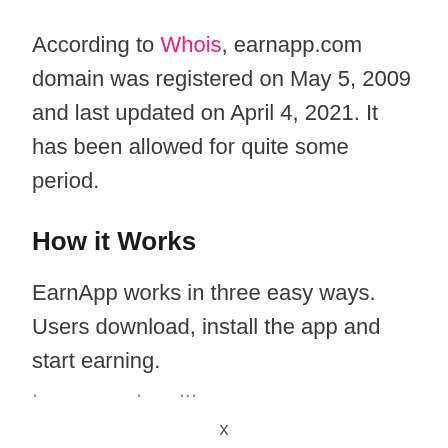According to Whois, earnapp.com domain was registered on May 5, 2009 and last updated on April 4, 2021. It has been allowed for quite some period.
How it Works
EarnApp works in three easy ways. Users download, install the app and start earning.
x